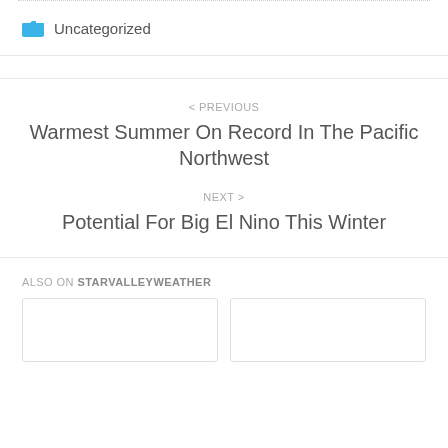Uncategorized
< PREVIOUS
Warmest Summer On The Record In The Pacific Northwest
NEXT >
Potential For Big El Nino This Winter
ALSO ON STARVALLEYWEATHER